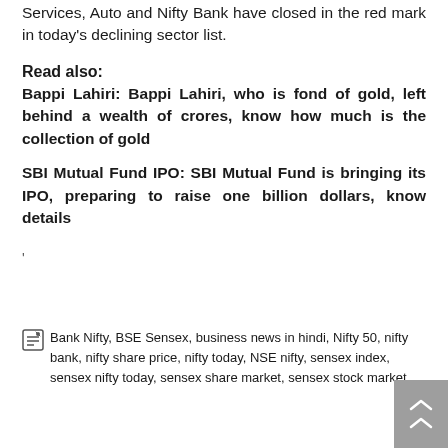Services, Auto and Nifty Bank have closed in the red mark in today's declining sector list.
Read also:
Bappi Lahiri: Bappi Lahiri, who is fond of gold, left behind a wealth of crores, know how much is the collection of gold
SBI Mutual Fund IPO: SBI Mutual Fund is bringing its IPO, preparing to raise one billion dollars, know details
'
Bank Nifty, BSE Sensex, business news in hindi, Nifty 50, nifty bank, nifty share price, nifty today, NSE nifty, sensex index, sensex nifty today, sensex share market, sensex stock market,